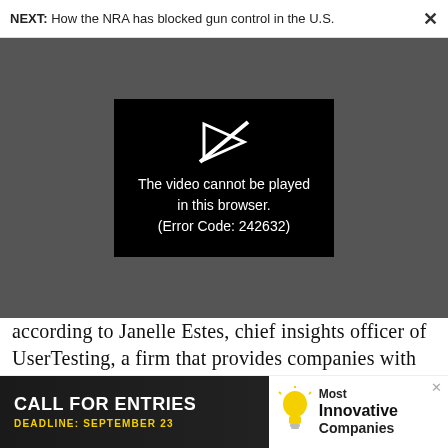NEXT: How the NRA has blocked gun control in the U.S.
[Figure (screenshot): Video player error screen showing a broken/unavailable video. White broken-video icon above text: 'The video cannot be played in this browser. (Error Code: 242632)']
according to Janelle Estes, chief insights officer of UserTesting, a firm that provides companies with insights and feedback from customers, savvy brands can even enlist their customers to help build these tools. She notes that a well-known eyeglass retailer
[Figure (infographic): Advertisement banner: 'CALL FOR ENTRIES / DEADLINE: SEPTEMBER 23' on dark background with lightbulb icon and 'Most Innovative Companies' text on white background.]